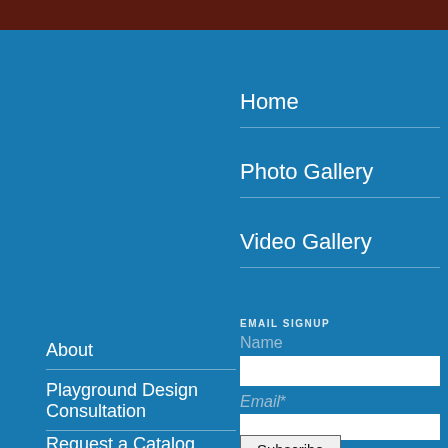[Figure (photo): Partial top image strip showing reddish-brown content at top of page]
Home
Photo Gallery
Video Gallery
About
Playground Design Consultation
Request a Catalog
EMAIL SIGNUP
Name
Email*
Subscribe